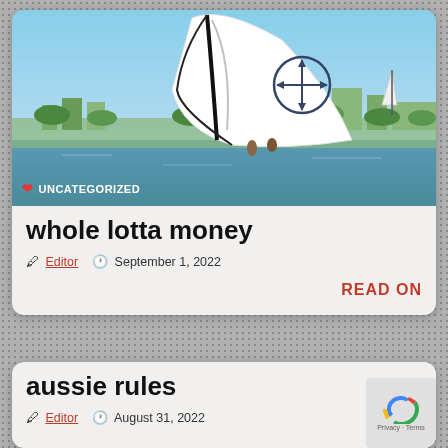[Figure (photo): Sailing boat with large white spinnaker sail bearing a compass/anchor logo, on blue water with city skyline in background. Badge overlay reads UNCATEGORIZED with red heart icon.]
whole lotta money
Editor  September 1, 2022
READ ON
aussie rules
Editor  August 31, 2022